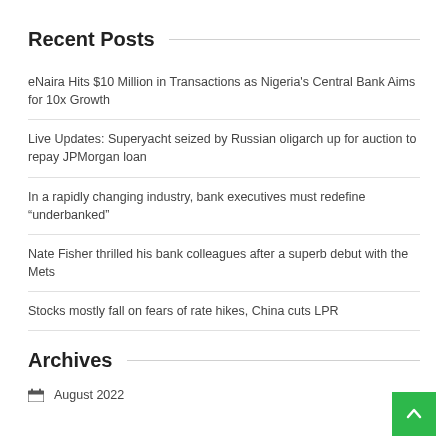Recent Posts
eNaira Hits $10 Million in Transactions as Nigeria's Central Bank Aims for 10x Growth
Live Updates: Superyacht seized by Russian oligarch up for auction to repay JPMorgan loan
In a rapidly changing industry, bank executives must redefine “underbanked”
Nate Fisher thrilled his bank colleagues after a superb debut with the Mets
Stocks mostly fall on fears of rate hikes, China cuts LPR
Archives
August 2022